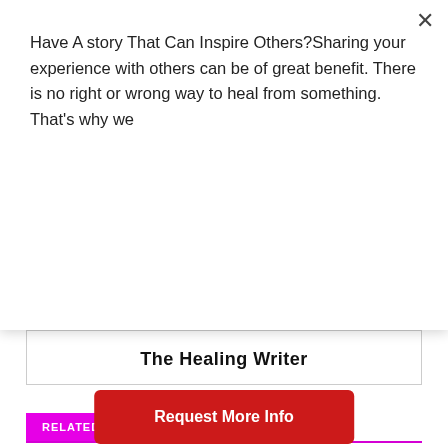Have A story That Can Inspire Others?Sharing your experience with others can be of great benefit. There is no right or wrong way to heal from something. That's why we
Request More Info
The Healing Writer
RELATED ARTICLES   MORE FROM AUTHOR
Can Environment Trump Zodiac?
[Figure (illustration): Astrology/zodiac chart illustration on aged paper background]
5 Ways To Balance Your Chakras